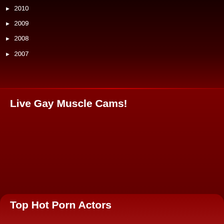► 2010
► 2009
► 2008
► 2007
Live Gay Muscle Cams!
[Figure (photo): Muscular man with mustache, shirtless, with 'Flirting' badge overlay and name label 'Will Cumb' at bottom]
Top Hot Porn Actors